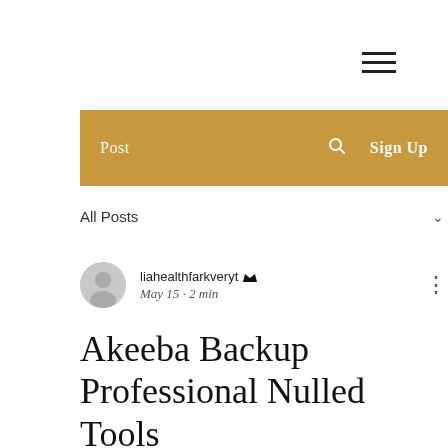[Figure (illustration): Hamburger menu icon (three horizontal lines) in top right area]
Post   🔍   Sign Up
All Posts
liahealthfarkveryt 👑  May 15 · 2 min
Akeeba Backup Professional Nulled Tools